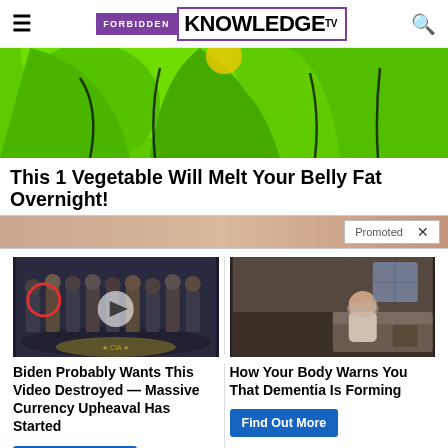FORBIDDEN KNOWLEDGE TV
[Figure (photo): Close-up of bright green garments/clothing items on a white background]
This 1 Vegetable Will Melt Your Belly Fat Overnight!
[Figure (infographic): Promoted advertisement banner with background image]
[Figure (photo): Group of men in suits standing at CIA headquarters, with a red circle highlighting one person and a video play button overlay]
[Figure (photo): Elderly person sitting on a bed, appearing unwell]
Biden Probably Wants This Video Destroyed — Massive Currency Upheaval Has Started
Watch The Video
How Your Body Warns You That Dementia Is Forming
Find Out More